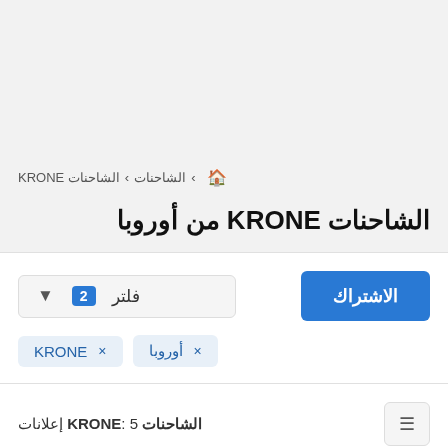الشاحنات › الشاحنات KRONE
الشاحنات KRONE من أوروبا
الاشتراك
فلتر 2
KRONE × أوروبا ×
الشاحنات KRONE: 5 إعلانات